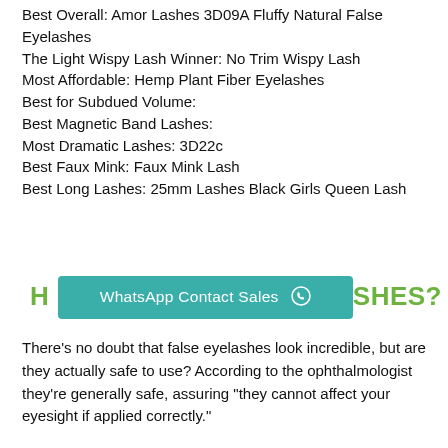Best Overall: Amor Lashes 3D09A Fluffy Natural False Eyelashes
The Light Wispy Lash Winner: No Trim Wispy Lash
Most Affordable: Hemp Plant Fiber Eyelashes
Best for Subdued Volume:
Best Magnetic Band Lashes:
Most Dramatic Lashes: 3D22c
Best Faux Mink: Faux Mink Lash
Best Long Lashes: 25mm Lashes Black Girls Queen Lash
[Figure (other): WhatsApp Contact Sales button with partial heading text 'H...ASHES?' in green on either side]
There’s no doubt that false eyelashes look incredible, but are they actually safe to use? According to the ophthalmologist they’re generally safe, assuring “they cannot affect your eyesight if applied correctly.”